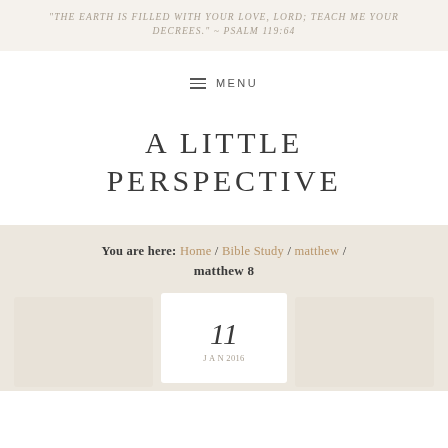"THE EARTH IS FILLED WITH YOUR LOVE, LORD; TEACH ME YOUR DECREES." ~ PSALM 119:64
≡ MENU
A LITTLE PERSPECTIVE
You are here: Home / Bible Study / matthew / matthew 8
11